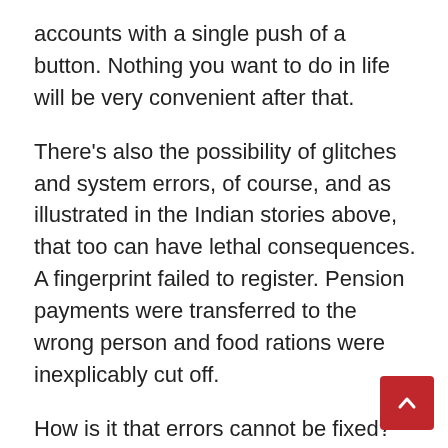accounts with a single push of a button. Nothing you want to do in life will be very convenient after that.
There's also the possibility of glitches and system errors, of course, and as illustrated in the Indian stories above, that too can have lethal consequences. A fingerprint failed to register. Pension payments were transferred to the wrong person and food rations were inexplicably cut off.
How is it that errors cannot be fixed? Probably because all the authorities who rely on the system have no authority to make changes in it. It's all automated, run by algorithms, and everyone is essentially a powerless slave to